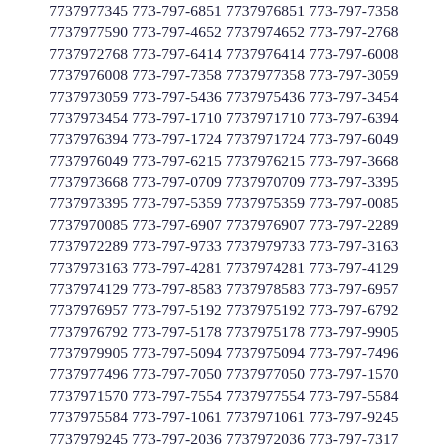7737977345 773-797-6851 7737976851 773-797-7358 7737977590 773-797-4652 7737974652 773-797-2768 7737972768 773-797-6414 7737976414 773-797-6008 7737976008 773-797-7358 7737977358 773-797-3059 7737973059 773-797-5436 7737975436 773-797-3454 7737973454 773-797-1710 7737971710 773-797-6394 7737976394 773-797-1724 7737971724 773-797-6049 7737976049 773-797-6215 7737976215 773-797-3668 7737973668 773-797-0709 7737970709 773-797-3395 7737973395 773-797-5359 7737975359 773-797-0085 7737970085 773-797-6907 7737976907 773-797-2289 7737972289 773-797-9733 7737979733 773-797-3163 7737973163 773-797-4281 7737974281 773-797-4129 7737974129 773-797-8583 7737978583 773-797-6957 7737976957 773-797-5192 7737975192 773-797-6792 7737976792 773-797-5178 7737975178 773-797-9905 7737979905 773-797-5094 7737975094 773-797-7496 7737977496 773-797-7050 7737977050 773-797-1570 7737971570 773-797-7554 7737977554 773-797-5584 7737975584 773-797-1061 7737971061 773-797-9245 7737979245 773-797-2036 7737972036 773-797-7317 7737977317 773-797-5345 7737975345 773-797-5366 7737975366 773-797-7685 7737977685 773-797-3784 7737973784 773-797-2619 7737972619 773-797-5010 7737975010 773-797-2713 7737972713 773-797-1657 7737971657 773-797-1272 7737971272 773-797-6548